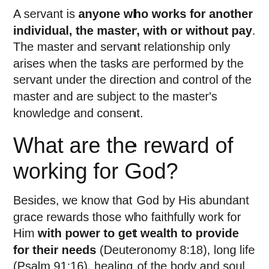A servant is anyone who works for another individual, the master, with or without pay. The master and servant relationship only arises when the tasks are performed by the servant under the direction and control of the master and are subject to the master's knowledge and consent.
What are the reward of working for God?
Besides, we know that God by His abundant grace rewards those who faithfully work for Him with power to get wealth to provide for their needs (Deuteronomy 8:18), long life (Psalm 91:16), healing of the body and soul (1 Peter 2:24), peace of heart (Philippians 4:6-7), comfort in affliction